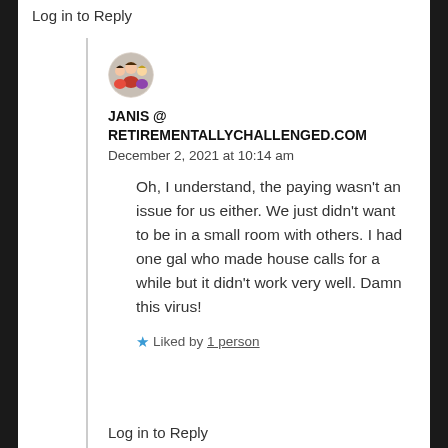Log in to Reply
[Figure (illustration): Circular avatar image of a cartoon/illustrated group of people, used as a commenter profile picture]
JANIS @ RETIREMENTALLYCHALLENGED.COM
December 2, 2021 at 10:14 am
Oh, I understand, the paying wasn’t an issue for us either. We just didn’t want to be in a small room with others. I had one gal who made house calls for a while but it didn’t work very well. Damn this virus!
★ Liked by 1 person
Log in to Reply